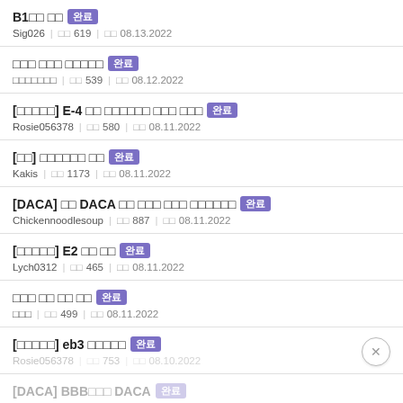B1□□ □□ 완료 | Sig026 | □□ 619 | □□ 08.13.2022
□□□ □□□ □□□□□ 완료 | □□□□□□□ | □□ 539 | □□ 08.12.2022
[□□□□□] E-4 □□ □□□□□□ □□□ □□□ 완료 | Rosie056378 | □□ 580 | □□ 08.11.2022
[□□] □□□□□□ □□ 완료 | Kakis | □□ 1173 | □□ 08.11.2022
[DACA] □□ DACA □□ □□□ □□□ □□□□□□ 완료 | Chickennoodlesoup | □□ 887 | □□ 08.11.2022
[□□□□□] E2 □□ □□ 완료 | Lych0312 | □□ 465 | □□ 08.11.2022
□□□ □□ □□ □□ 완료 | □□□ | □□ 499 | □□ 08.11.2022
[□□□□□] eb3 □□□□□ 완료 | Rosie056378 | □□ 753 | □□ 08.10.2022
[DACA] BBB□□□ DACA 완료